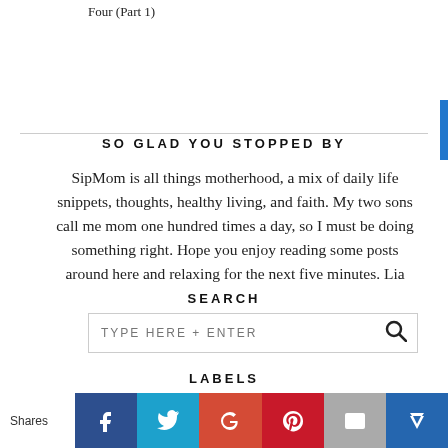Four (Part 1)
SO GLAD YOU STOPPED BY
SipMom is all things motherhood, a mix of daily life snippets, thoughts, healthy living, and faith. My two sons call me mom one hundred times a day, so I must be doing something right. Hope you enjoy reading some posts around here and relaxing for the next five minutes. Lia
SEARCH
TYPE HERE + ENTER
LABELS
10 sips for the weekend
Shares